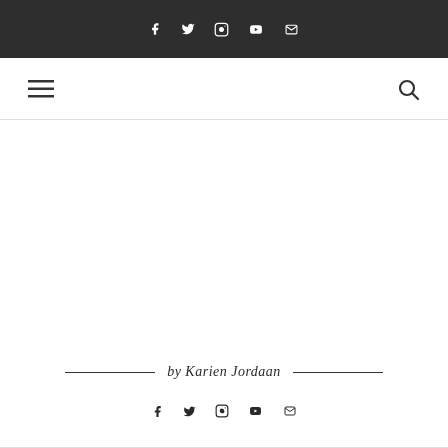Social icons: facebook, twitter, instagram, youtube, email
Navigation: hamburger menu icon, search icon
[Figure (other): Large blank white content area (main page body)]
by Karien Jordaan
[Figure (other): Footer social icons: facebook, twitter, instagram, youtube, email]